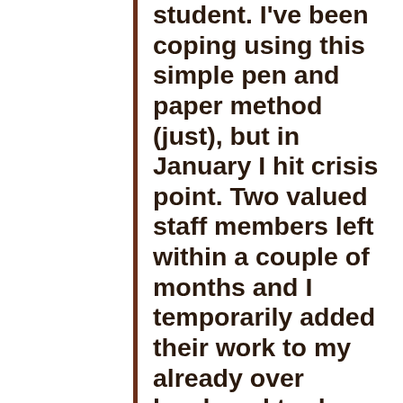student. I've been coping using this simple pen and paper method (just), but in January I hit crisis point. Two valued staff members left within a couple of months and I temporarily added their work to my already over burdened to-do list. My friend and extreme productivity guru Dr Jason Downs listened to my whingeing and suggested Omnifocus2. I'll admit that I was initially skeptical. I've tried many